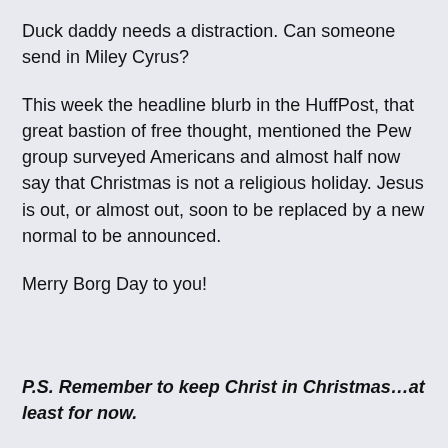Duck daddy needs a distraction. Can someone send in Miley Cyrus?
This week the headline blurb in the HuffPost, that great bastion of free thought, mentioned the Pew group surveyed Americans and almost half now say that Christmas is not a religious holiday. Jesus is out, or almost out, soon to be replaced by a new normal to be announced.
Merry Borg Day to you!
P.S. Remember to keep Christ in Christmas…at least for now.